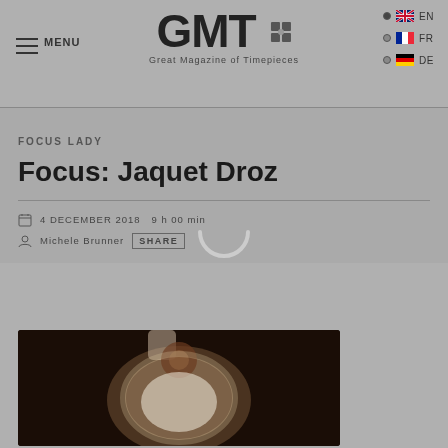GMT — Great Magazine of Timepieces | MENU | EN | FR | DE
FOCUS LADY
Focus: Jaquet Droz
4 DECEMBER 2018  9 h 00 min
Michele Brunner  SHARE
[Figure (photo): Jaquet Droz luxury watch with floral automaton on dark background]